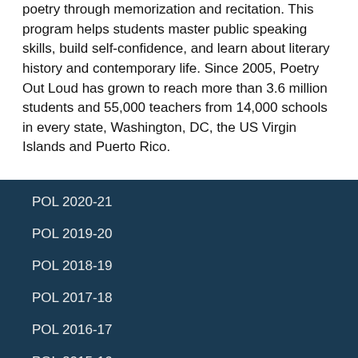poetry through memorization and recitation. This program helps students master public speaking skills, build self-confidence, and learn about literary history and contemporary life. Since 2005, Poetry Out Loud has grown to reach more than 3.6 million students and 55,000 teachers from 14,000 schools in every state, Washington, DC, the US Virgin Islands and Puerto Rico.
POL 2020-21
POL 2019-20
POL 2018-19
POL 2017-18
POL 2016-17
POL 2015-16